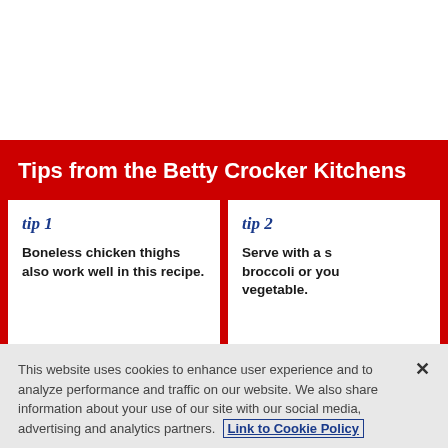Tips from the Betty Crocker Kitchens
tip 1 — Boneless chicken thighs also work well in this recipe.
tip 2 — Serve with a s... broccoli or you... vegetable.
This website uses cookies to enhance user experience and to analyze performance and traffic on our website. We also share information about your use of our site with our social media, advertising and analytics partners. Link to Cookie Policy
Customize Settings
Accept All Cookies